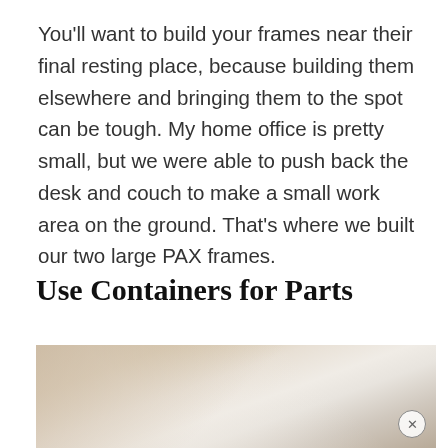You'll want to build your frames near their final resting place, because building them elsewhere and bringing them to the spot can be tough. My home office is pretty small, but we were able to push back the desk and couch to make a small work area on the ground. That's where we built our two large PAX frames.
Use Containers for Parts
[Figure (photo): Partial photo showing cardboard and light-colored surfaces, partially cropped at page bottom]